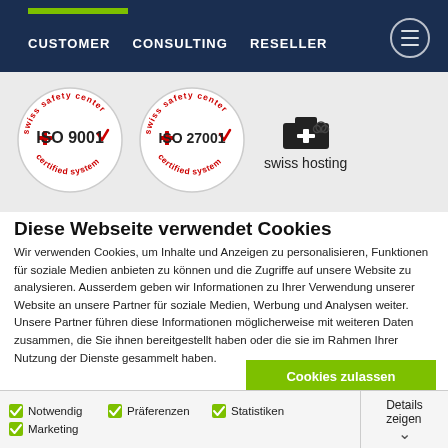CUSTOMER   CONSULTING   RESELLER
[Figure (logo): Swiss Safety Center ISO 9001 certified system badge (circular stamp logo)]
[Figure (logo): Swiss Safety Center ISO 27001 certified system badge (circular stamp logo)]
[Figure (logo): Swiss hosting icon with plus/cloud symbol]
Diese Webseite verwendet Cookies
Wir verwenden Cookies, um Inhalte und Anzeigen zu personalisieren, Funktionen für soziale Medien anbieten zu können und die Zugriffe auf unsere Website zu analysieren. Ausserdem geben wir Informationen zu Ihrer Verwendung unserer Website an unsere Partner für soziale Medien, Werbung und Analysen weiter. Unsere Partner führen diese Informationen möglicherweise mit weiteren Daten zusammen, die Sie ihnen bereitgestellt haben oder die sie im Rahmen Ihrer Nutzung der Dienste gesammelt haben.
Cookies zulassen
Auswahl erlauben
Nur notwendige Cookies
Notwendig   Präferenzen   Statistiken   Marketing   Details zeigen